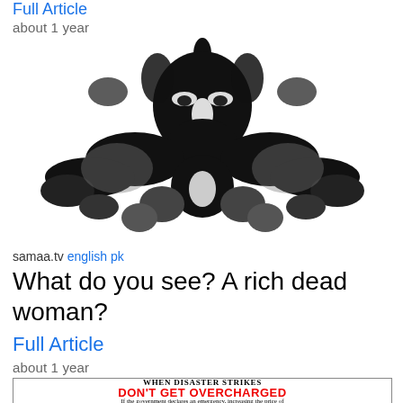Full Article
about 1 year
[Figure (photo): Symmetrical black and white inkblot image resembling a Rorschach test, showing mirrored abstract shapes that suggest a face or figure.]
samaa.tv english pk
What do you see? A rich dead woman?
Full Article
about 1 year
[Figure (infographic): Ad banner: WHEN DISASTER STRIKES DON'T GET OVERCHARGED - If the government declares an emergency, increasing the price of...]